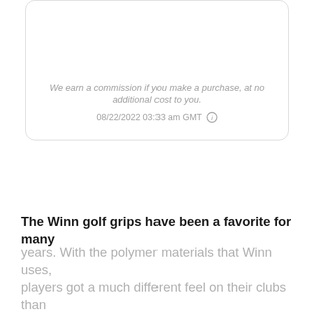We earn a commission if you make a purchase, at no additional cost to you.
08/22/2022 03:33 am GMT
The Winn golf grips have been a favorite for many years. With the polymer materials that Winn uses, players got a much different feel on their clubs than